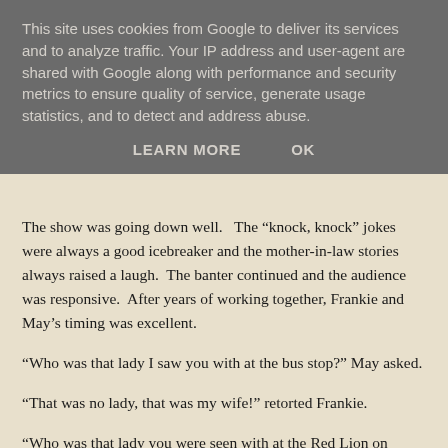This site uses cookies from Google to deliver its services and to analyze traffic. Your IP address and user-agent are shared with Google along with performance and security metrics to ensure quality of service, generate usage statistics, and to detect and address abuse.
LEARN MORE    OK
The show was going down well.   The “knock, knock” jokes were always a good icebreaker and the mother-in-law stories always raised a laugh.  The banter continued and the audience was responsive.  After years of working together, Frankie and May’s timing was excellent.
“Who was that lady I saw you with at the bus stop?” May asked.
“That was no lady, that was my wife!” retorted Frankie.
“Who was that lady you were seen with at the Red Lion on Tuesday?” May asked.
The hesitation was apparent and May saw Frankie visibly pale